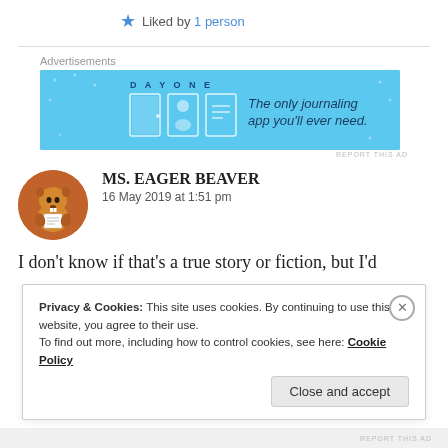★ Liked by 1 person
[Figure (illustration): Day One journaling app advertisement banner with blue background, icons of door, person, and document, and text 'The only journaling app you'll ever need.']
MS. EAGER BEAVER
16 May 2019 at 1:51 pm
I don't know if that's a true story or fiction, but I'd
Privacy & Cookies: This site uses cookies. By continuing to use this website, you agree to their use.
To find out more, including how to control cookies, see here: Cookie Policy
Close and accept